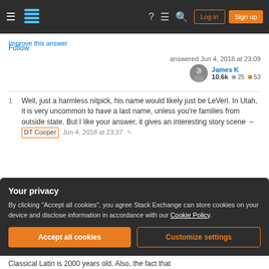Stack Exchange navigation bar with Log in and Sign up buttons
Improve this answer
Follow
answered Jun 4, 2018 at 23:09
James K 10.6k ● 25 ● 53
1  Well, just a harmless nitpick, his name would likely just be LeVerl. In Utah, it is very uncommon to have a last name, unless you're families from outside state. But I like your answer, it gives an interesting story scene – DT Cooper  Jun 4, 2018 at 23:37 ✎
Add a comment
Your privacy
By clicking "Accept all cookies", you agree Stack Exchange can store cookies on your device and disclose information in accordance with our Cookie Policy.
Accept all cookies   Customize settings
Classical Latin is 2000 years old. Also, the fact that